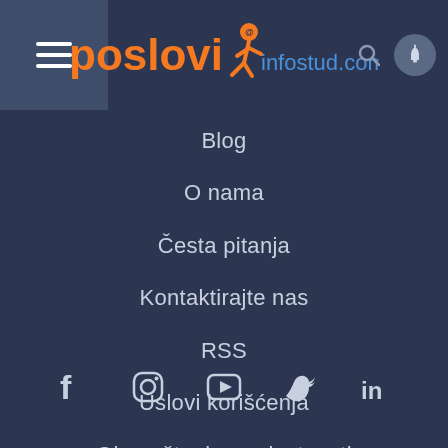[Figure (logo): Poslovi Infostud logo with orange figure and blue infostud.com text]
Blog
O nama
Česta pitanja
Kontaktirajte nas
RSS
Uslovi korišćenja
Obaveštenje o privatnosti
[Figure (infographic): Social media icons row: Facebook, Instagram, YouTube, Twitter, LinkedIn]